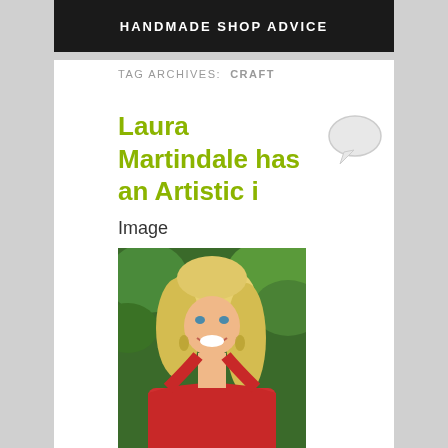HANDMADE SHOP ADVICE
TAG ARCHIVES: CRAFT
Laura Martindale has an Artistic i
Image
[Figure (photo): Portrait photo of a smiling blonde woman wearing a red dress, with green foliage in the background.]